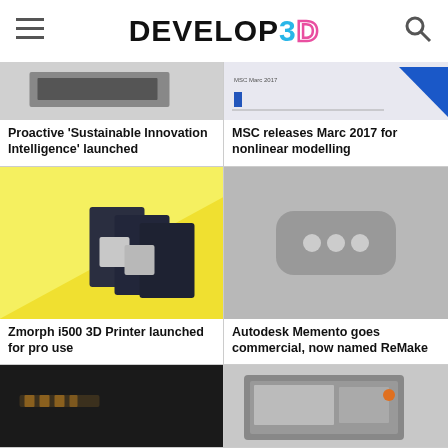DEVELOP3D
[Figure (photo): Product/device photo with dark background]
[Figure (photo): Screenshot of MSC Marc 2017 software interface]
Proactive 'Sustainable Innovation Intelligence' launched
MSC releases Marc 2017 for nonlinear modelling
[Figure (photo): Zmorph i500 3D Printer on yellow background]
[Figure (photo): Autodesk Memento/ReMake loading placeholder icon]
Zmorph i500 3D Printer launched for pro use
Autodesk Memento goes commercial, now named ReMake
[Figure (photo): Dark photo, partially cropped]
[Figure (photo): Device/peripheral photo, partially cropped]